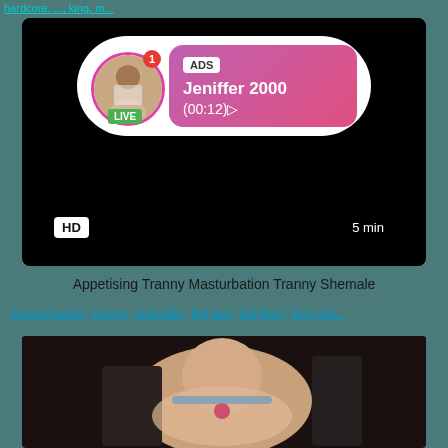hardcore, ..., king, m...
[Figure (screenshot): Video player with ad overlay showing 'ADS Jeniffer 2000 (00:12)' with LIVE avatar badge, HD badge, 5 min duration]
Appetising Tranny Masturbation Tranny Shemale
masturbation, tranny, shemale, big ass, ladyboy, she mal...
[Figure (photo): Thumbnail image of adult content video]